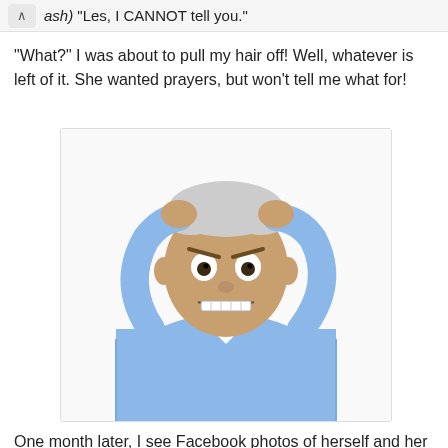ash) "Les, I CANNOT tell you."
"What?" I was about to pull my hair off! Well, whatever is left of it. She wanted prayers, but won't tell me what for!
[Figure (photo): An elderly man in a light blue shirt looking extremely frustrated and angry, with both hands gripping his head/hair and an exasperated expression on his face, against a white background.]
One month later, I see Facebook photos of herself and her family in Switzerland. Apparently, they've immigrated there and now living "the good life." Then I realized that the prayer